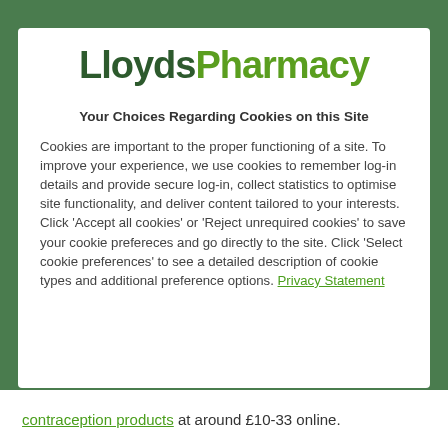[Figure (logo): LloydsPharmacy logo — 'Lloyds' in dark green bold, 'Pharmacy' in light green bold]
Your Choices Regarding Cookies on this Site
Cookies are important to the proper functioning of a site. To improve your experience, we use cookies to remember log-in details and provide secure log-in, collect statistics to optimise site functionality, and deliver content tailored to your interests. Click 'Accept all cookies' or 'Reject unrequired cookies' to save your cookie prefereces and go directly to the site. Click 'Select cookie preferences' to see a detailed description of cookie types and additional preference options. Privacy Statement
contraception products at around £10-33 online.